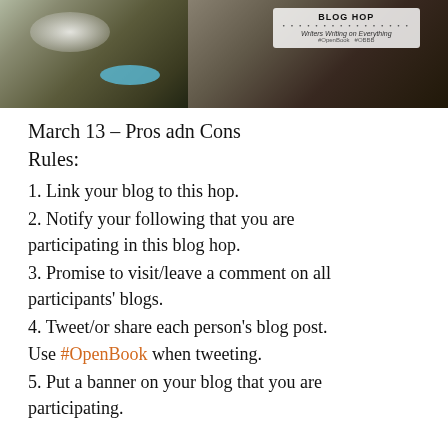[Figure (photo): Mountain landscape banner with clouds on the left side, a turquoise river/lake, dark forest-covered mountains on the right, with a semi-transparent overlay box showing blog hop branding text: 'BLOG HOP', dots, 'Writers Writing on Everything', '#OpenBook #OBBB']
March 13 - Pros adn Cons
Rules:
1. Link your blog to this hop.
2. Notify your following that you are participating in this blog hop.
3. Promise to visit/leave a comment on all participants' blogs.
4. Tweet/or share each person's blog post. Use #OpenBook when tweeting.
5. Put a banner on your blog that you are participating.